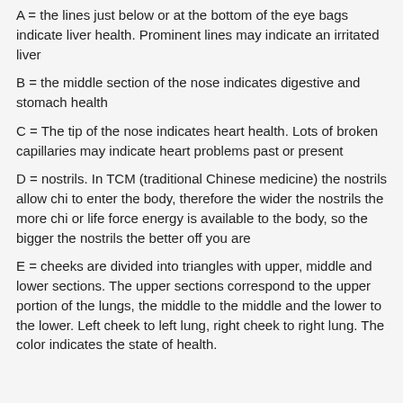A = the lines just below or at the bottom of the eye bags indicate liver health. Prominent lines may indicate an irritated liver
B = the middle section of the nose indicates digestive and stomach health
C = The tip of the nose indicates heart health. Lots of broken capillaries may indicate heart problems past or present
D = nostrils. In TCM (traditional Chinese medicine) the nostrils allow chi to enter the body, therefore the wider the nostrils the more chi or life force energy is available to the body, so the bigger the nostrils the better off you are
E = cheeks are divided into triangles with upper, middle and lower sections. The upper sections correspond to the upper portion of the lungs, the middle to the middle and the lower to the lower. Left cheek to left lung, right cheek to right lung. The color indicates the state of health.